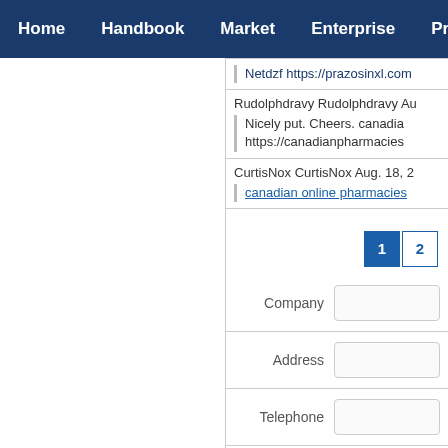Home  Handbook  Market  Enterprise  Product
Netdzf https://prazosinxl.com
Rudolphdravy Rudolphdravy Au
Nicely put. Cheers. canadia https://canadianpharmacies
CurtisNox CurtisNox Aug. 18, 2
canadian online pharmacies
1  2
Company
Address
Telephone